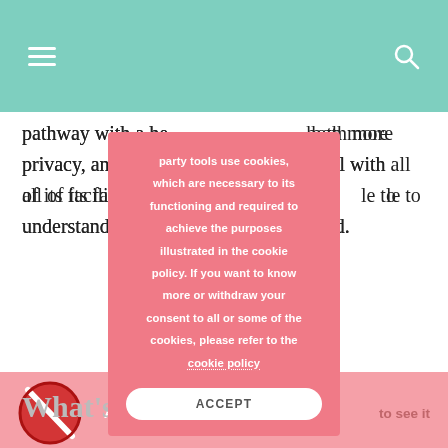Navigation header with hamburger menu and search icon
pathway with a he[dge on the sides], b[oth more] privacy, and to be c[onnected to th]e hotel with all of its facilities. F[or this reason, it is possib]le to understand better [how they are design]ed.
[Figure (screenshot): Cookie consent overlay with pink background. Text: 'party tools use cookies, which are necessary to its functioning and required to achieve the purposes illustrated in the cookie policy. If you want to know more or withdraw your consent to all or some of the cookies, please refer to the cookie policy'. Accept button at bottom.]
[Figure (photo): Pink band with no-image icon (red prohibition sign) and text 'Accept coo[kies] to see it']
What's insid[e]
The bubble is cons[tructed so that whe]n you get in you first have a small entrance, where you close yourself in with zippers, in order to enter the real bubble. The zippers